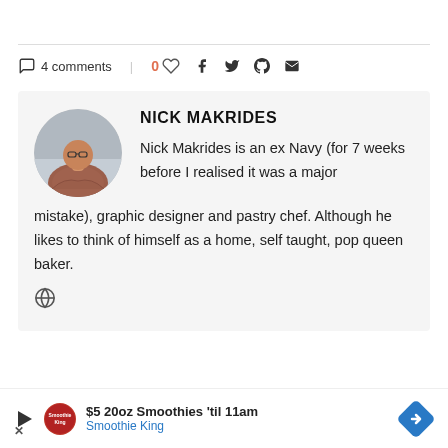4 comments | 0 ♡ f twitter pinterest email
[Figure (photo): Circular avatar photo of Nick Makrides, a man with glasses wearing a plaid shirt, arms crossed, in a kitchen setting]
NICK MAKRIDES
Nick Makrides is an ex Navy (for 7 weeks before I realised it was a major mistake), graphic designer and pastry chef. Although he likes to think of himself as a home, self taught, pop queen baker.
[Figure (infographic): Ad banner: $5 20oz Smoothies 'til 11am - Smoothie King with navigation arrow icon]